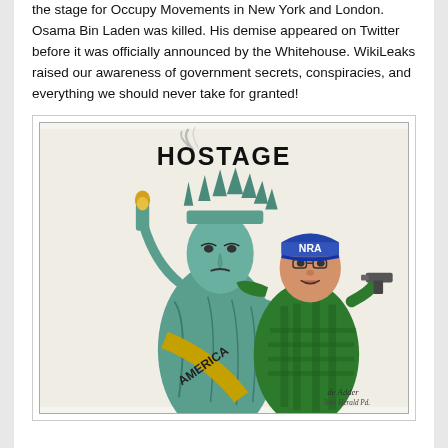the stage for Occupy Movements in New York and London. Osama Bin Laden was killed. His demise appeared on Twitter before it was officially announced by the Whitehouse. WikiLeaks raised our awareness of government secrets, conspiracies, and everything we should never take for granted!
[Figure (illustration): Political cartoon showing the Statue of Liberty labeled 'AMERICA' on her sash, depicted as a hostage, with the word 'HOSTAGE' above. A figure wearing an NRA cap holds a gun to her, depicted in a green jacket. The cartoon is signed by the artist with 'New Herald Pd.' notation.]